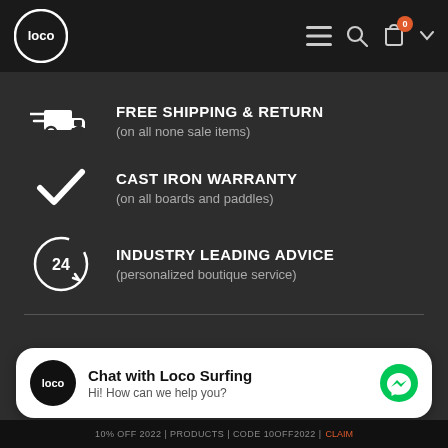Loco Surfing navigation bar with logo, menu, search, cart (0), and profile icons
FREE SHIPPING & RETURN (on all none sale items)
CAST IRON WARRANTY (on all boards and paddles)
INDUSTRY LEADING ADVICE (personalized boutique service)
Chat with Loco Surfing
Hi! How can we help you?
10% OFF 2022 | PRODUCTS | CODE 10OFF2022 | CLAIM